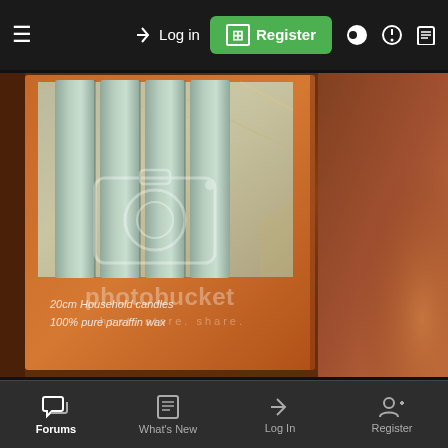≡  → Log in  [+] Register
[Figure (photo): A box of 20cm household candles (100% pure paraffin wax) in an orange cardboard box with a clear cellophane window revealing light green/grey taper candles inside. The box is tilted at an angle. A photobucket watermark (camera icon + 'photobucket host. store. share.') overlays the image. Warm brown/orange background lighting.]
Forums  What's New  Log In  Register